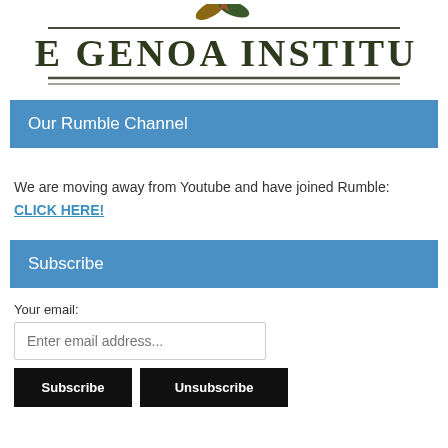[Figure (logo): The Genoa Institute logo with eagle/leaf icon above bold serif text reading THE GENOA INSTITUTE with double underline]
Our Rumble Channel
We are moving away from Youtube and have joined Rumble:
CLICK HERE!
Subscribe
Your email:
Enter email address...
Subscribe   Unsubscribe